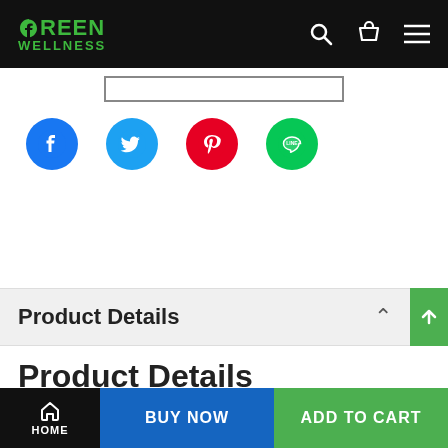Green Wellness
[Figure (screenshot): Social share icons: Facebook (blue), Twitter (light blue), Pinterest (red), LINE (green)]
Product Details
Product Details
HOME | BUY NOW | ADD TO CART